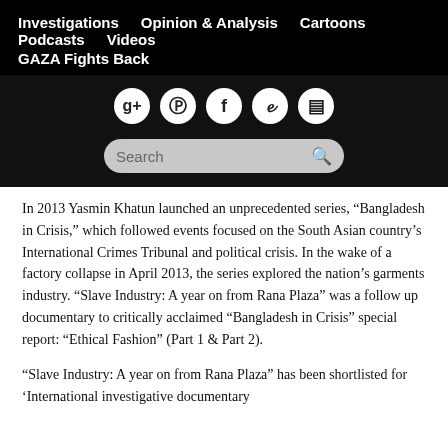Investigations   Opinion & Analysis   Cartoons   Podcasts   Videos   GAZA Fights Back
In 2013 Yasmin Khatun launched an unprecedented series, “Bangladesh in Crisis,” which followed events focused on the South Asian country’s International Crimes Tribunal and political crisis. In the wake of a factory collapse in April 2013, the series explored the nation’s garments industry. “Slave Industry: A year on from Rana Plaza” was a follow up documentary to critically acclaimed “Bangladesh in Crisis” special report: “Ethical Fashion” (Part 1 & Part 2).
“Slave Industry: A year on from Rana Plaza” has been shortlisted for ‘International investigative documentary